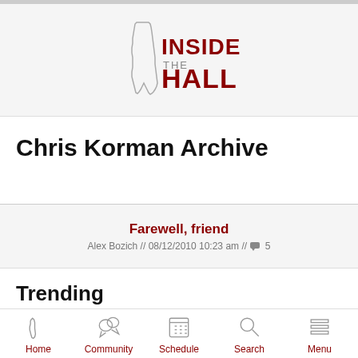[Figure (logo): Inside The Hall logo with Indiana state outline silhouette and bold red text reading INSIDE THE HALL]
Chris Korman Archive
Farewell, friend — Alex Bozich // 08/12/2010 10:23 am // 5 comments
Trending
Home  Community  Schedule  Search  Menu